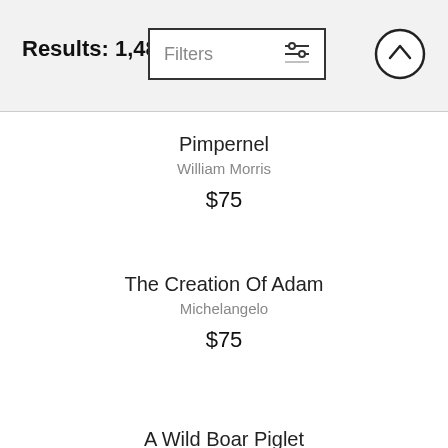Results: 1,485
Filters
Pimpernel
William Morris
$75
The Creation Of Adam
Michelangelo
$75
A Wild Boar Piglet
Hans Hoffmann
$75